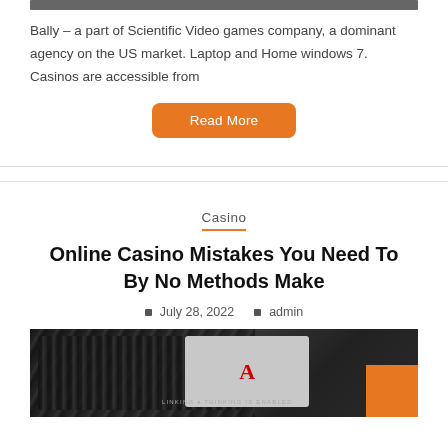Bally – a part of Scientific Video games company, a dominant agency on the US market. Laptop and Home windows 7. Casinos are accessible from
Read More
Casino
Online Casino Mistakes You Need To By No Methods Make
July 28, 2022   admin
[Figure (photo): Black and white photo of casino chips stacked and playing cards (ace of hearts visible), with an orange square overlay in bottom right corner.]